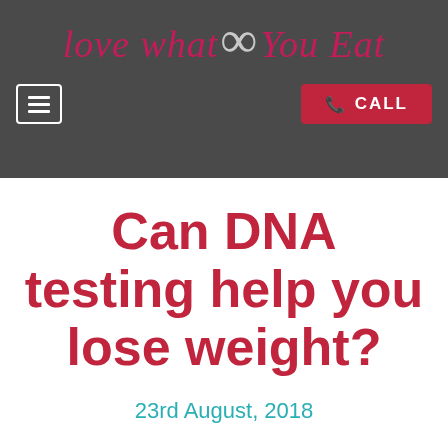[Figure (logo): Love What [infinity symbol] You Eat logo in cursive pink text on dark gray background]
CALL
Can DNA testing help you lose weight?
23rd August, 2018